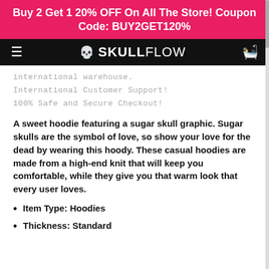Buy 2 Get 1 20% OFF On All The Store! Coupon Code: BUY2GET120%
SKULLFLOW
international warehouse.
International Customer Support!
100% Safe and Secure Checkout!
A sweet hoodie featuring a sugar skull graphic. Sugar skulls are the symbol of love, so show your love for the dead by wearing this hoody. These casual hoodies are made from a high-end knit that will keep you comfortable, while they give you that warm look that every user loves.
Item Type: Hoodies
Thickness: Standard